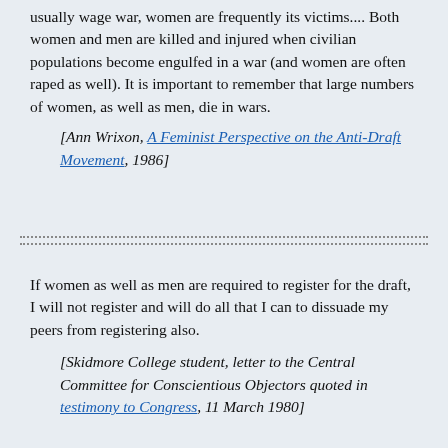usually wage war, women are frequently its victims.... Both women and men are killed and injured when civilian populations become engulfed in a war (and women are often raped as well). It is important to remember that large numbers of women, as well as men, die in wars.
[Ann Wrixon, A Feminist Perspective on the Anti-Draft Movement, 1986]
If women as well as men are required to register for the draft, I will not register and will do all that I can to dissuade my peers from registering also.
[Skidmore College student, letter to the Central Committee for Conscientious Objectors quoted in testimony to Congress, 11 March 1980]